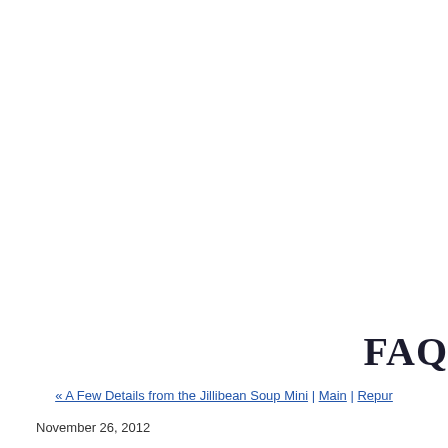FAQ
« A Few Details from the Jillibean Soup Mini | Main | Repurp
November 26, 2012